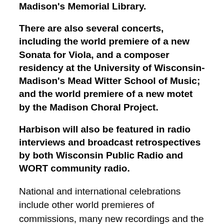Madison's Memorial Library.
There are also several concerts, including the world premiere of a new Sonata for Viola, and a composer residency at the University of Wisconsin-Madison's Mead Witter School of Music; and the world premiere of a new motet by the Madison Choral Project.
Harbison will also be featured in radio interviews and broadcast retrospectives by both Wisconsin Public Radio and WORT community radio.
National and international celebrations include other world premieres of commissions, many new recordings and the publication of Harbison's autobiographical book about Johann Sebastian Bach, “What Do We Make of Bach?”
For more details about the many local celebrations,